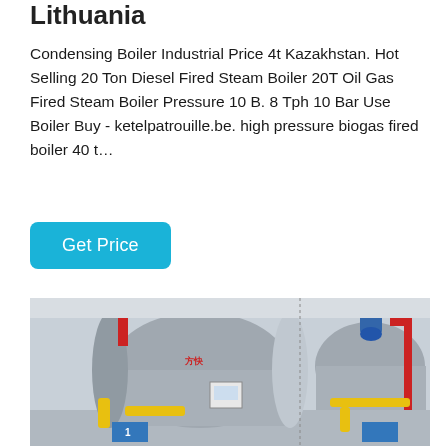Lithuania
Condensing Boiler Industrial Price 4t Kazakhstan. Hot Selling 20 Ton Diesel Fired Steam Boiler 20T Oil Gas Fired Steam Boiler Pressure 10 B. 8 Tph 10 Bar Use Boiler Buy - ketelpatrouille.be. high pressure biogas fired boiler 40 t…
[Figure (other): A blue 'Get Price' button]
[Figure (photo): Industrial boiler room with large horizontal cylindrical steel boilers branded with Chinese characters, connected with yellow, red, and blue pipes, numbered 1 at base.]